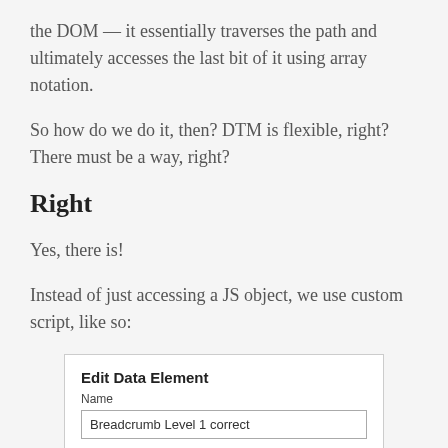the DOM — it essentially traverses the path and ultimately accesses the last bit of it using array notation.
So how do we do it, then? DTM is flexible, right? There must be a way, right?
Right
Yes, there is!
Instead of just accessing a JS object, we use custom script, like so:
[Figure (screenshot): Edit Data Element dialog screenshot showing Name field with value 'Breadcrumb Level 1 correct']